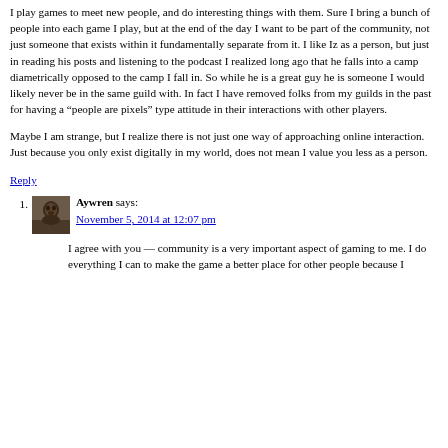I play games to meet new people, and do interesting things with them. Sure I bring a bunch of people into each game I play, but at the end of the day I want to be part of the community, not just someone that exists within it fundamentally separate from it. I like Iz as a person, but just in reading his posts and listening to the podcast I realized long ago that he falls into a camp diametrically opposed to the camp I fall in. So while he is a great guy he is someone I would likely never be in the same guild with. In fact I have removed folks from my guilds in the past for having a “people are pixels” type attitude in their interactions with other players.
Maybe I am strange, but I realize there is not just one way of approaching online interaction. Just because you only exist digitally in my world, does not mean I value you less as a person.
Reply
1. Aywren says: November 5, 2014 at 12:07 pm
I agree with you — community is a very important aspect of gaming to me. I do everything I can to make the game a better place for other people because I...